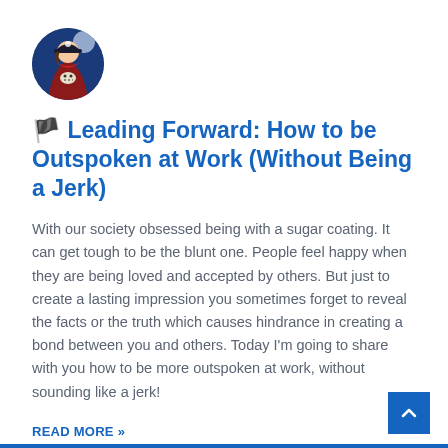[Figure (illustration): Circular avatar image showing an anime-style pirate character with a skull-and-crossbones symbol, wearing a cape/coat, against a blue background.]
🏴 Leading Forward: How to be Outspoken at Work (Without Being a Jerk)
With our society obsessed being with a sugar coating. It can get tough to be the blunt one. People feel happy when they are being loved and accepted by others. But just to create a lasting impression you sometimes forget to reveal the facts or the truth which causes hindrance in creating a bond between you and others. Today I'm going to share with you how to be more outspoken at work, without sounding like a jerk!
READ MORE »